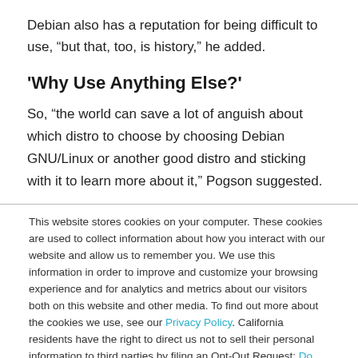Debian also has a reputation for being difficult to use, “but that, too, is history,” he added.
'Why Use Anything Else?'
So, “the world can save a lot of anguish about which distro to choose by choosing Debian GNU/Linux or another good distro and sticking with it to learn more about it,” Pogson suggested.
This website stores cookies on your computer. These cookies are used to collect information about how you interact with our website and allow us to remember you. We use this information in order to improve and customize your browsing experience and for analytics and metrics about our visitors both on this website and other media. To find out more about the cookies we use, see our Privacy Policy. California residents have the right to direct us not to sell their personal information to third parties by filing an Opt-Out Request: Do Not Sell My Personal Info.
Accept